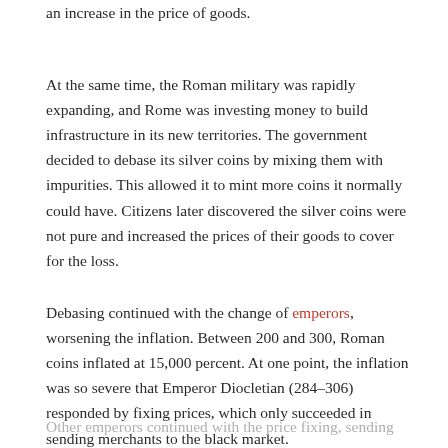an increase in the price of goods.
At the same time, the Roman military was rapidly expanding, and Rome was investing money to build infrastructure in its new territories. The government decided to debase its silver coins by mixing them with impurities. This allowed it to mint more coins it normally could have. Citizens later discovered the silver coins were not pure and increased the prices of their goods to cover for the loss.
Debasing continued with the change of emperors, worsening the inflation. Between 200 and 300, Roman coins inflated at 15,000 percent. At one point, the inflation was so severe that Emperor Diocletian (284–306) responded by fixing prices, which only succeeded in sending merchants to the black market.
Other emperors continued with the price fixing, sending